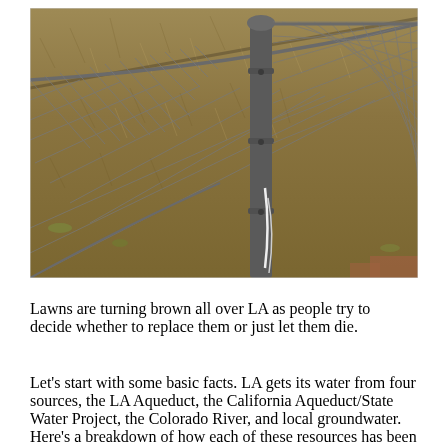[Figure (photo): Close-up photograph of a chain-link fence with a metal post, behind which is a dry, brown lawn or grass field. The fence runs diagonally across the upper portion of the image.]
Lawns are turning brown all over LA as people try to decide whether to replace them or just let them die.
Let’s start with some basic facts. LA gets its water from four sources, the LA Aqueduct, the California Aqueduct/State Water Project, the Colorado River, and local groundwater. Here’s a breakdown of how each of these resources has been compromised in recent years.